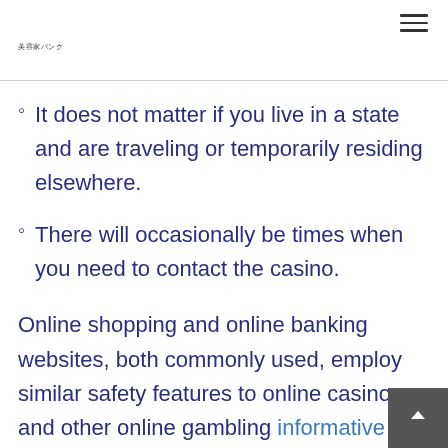美容家バンク
It does not matter if you live in a state and are traveling or temporarily residing elsewhere.
There will occasionally be times when you need to contact the casino.
Online shopping and online banking websites, both commonly used, employ similar safety features to online casinos and other online gambling informative